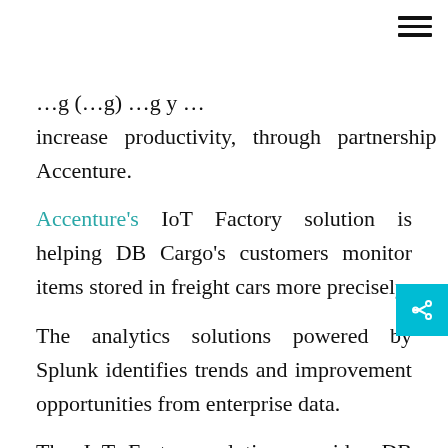…g (…g) …g y … increase productivity, through partnership with Accenture.
Accenture's IoT Factory solution is helping DB Cargo's customers monitor items stored in freight cars more precisely.
The analytics solutions powered by Splunk identifies trends and improvement opportunities from enterprise data.
The IoT Factory solution provides DB Cargo with insights from the rail operator's internet of things (IoT) network, including predictive maintenance based on